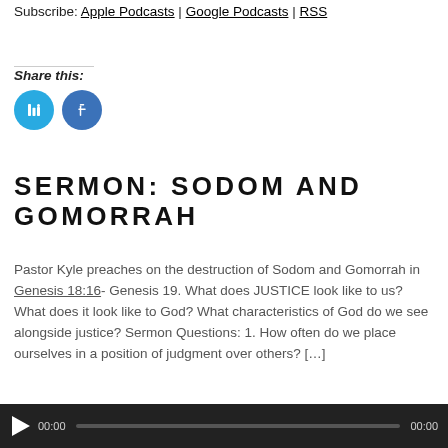Subscribe: Apple Podcasts | Google Podcasts | RSS
Share this:
[Figure (other): Two circular social media share buttons (Twitter and Facebook) in cyan/blue colors]
SERMON: SODOM AND GOMORRAH
Pastor Kyle preaches on the destruction of Sodom and Gomorrah in Genesis 18:16- Genesis 19. What does JUSTICE look like to us? What does it look like to God? What characteristics of God do we see alongside justice? Sermon Questions: 1. How often do we place ourselves in a position of judgment over others? [...]
[Figure (other): Audio player with play button, 00:00 timestamp, progress bar, and 00:00 end timestamp on dark background]